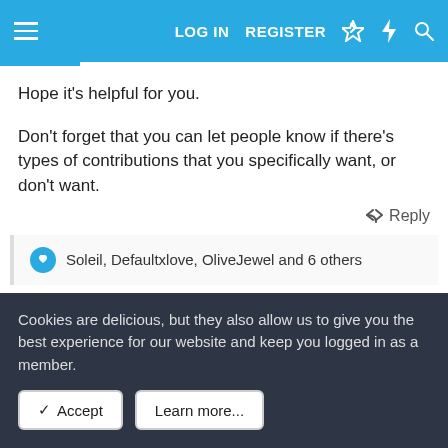LOG IN  REGISTER
Hope it's helpful for you.
Don't forget that you can let people know if there's types of contributions that you specifically want, or don't want.
Reply
Soleil, Defaultxlove, OliveJewel and 6 others
May 28, 2022  #3
MnM
Cookies are delicious, but they also allow us to give you the best experience for our website and keep you logged in as a member.
Accept
Learn more...